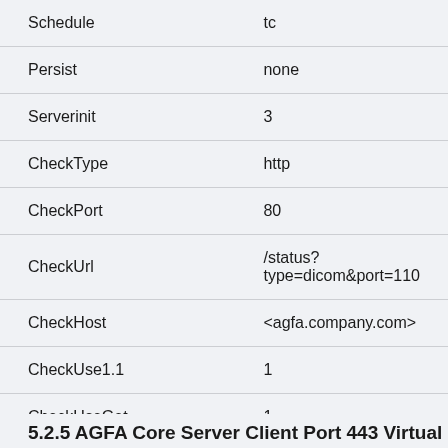| Parameter | Value |
| --- | --- |
| Schedule | tc |
| Persist | none |
| Serverinit | 3 |
| CheckType | http |
| CheckPort | 80 |
| CheckUrl | /status?type=dicom&port=110 |
| CheckHost | <agfa.company.com> |
| CheckUse1.1 | 1 |
| CheckUseGet | 1 |
5.2.5 AGFA Core Server Client Port 443 Virtual